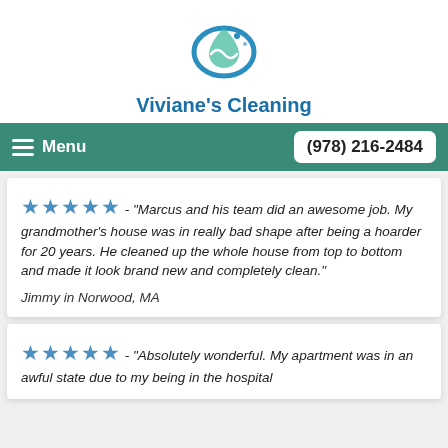[Figure (logo): Viviane's Cleaning logo — stylized wave and droplet in blue and green tones]
Viviane's Cleaning
Menu  (978) 216-2484
★★★★★ - "Marcus and his team did an awesome job. My grandmother's house was in really bad shape after being a hoarder for 20 years. He cleaned up the whole house from top to bottom and made it look brand new and completely clean."
Jimmy in Norwood, MA
★★★★★ - "Absolutely wonderful. My apartment was in an awful state due to my being in the hospital